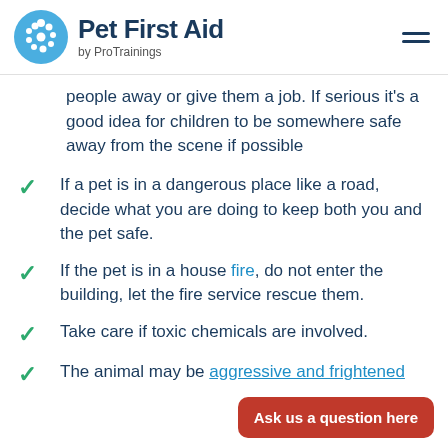Pet First Aid by ProTrainings
people away or give them a job. If serious it's a good idea for children to be somewhere safe away from the scene if possible
If a pet is in a dangerous place like a road, decide what you are doing to keep both you and the pet safe.
If the pet is in a house fire, do not enter the building, let the fire service rescue them.
Take care if toxic chemicals are involved.
The animal may be aggressive and frightened